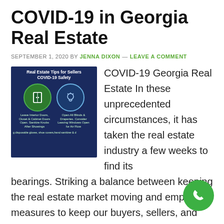COVID-19 in Georgia Real Estate
SEPTEMBER 1, 2020 BY JENNA DIXON — LEAVE A COMMENT
[Figure (infographic): Real Estate Tips for Sellers COVID-19 Safety infographic on dark navy background with green circles showing icons for leaving interior doors open and opening blinds/draperies]
COVID-19 Georgia Real Estate In these unprecedented circumstances, it has taken the real estate industry a few weeks to find its bearings. Striking a balance between keeping the real estate market moving and employing measures to keep our buyers, sellers, and ourselves safe has been stressful. With excel leadership through the COVID-19 Georgia Real Estate [...]